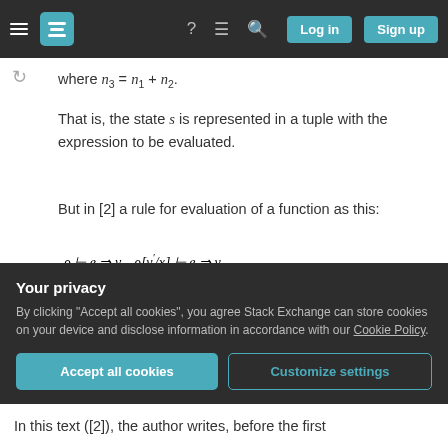Stack Exchange navigation bar with Log in and Sign up buttons
where n₃ = n₁ + n₂.
That is, the state s is represented in a tuple with the expression to be evaluated.
But in [2] a rule for evaluation of a function as this:
I am confused: why in the first case, the state s was passed along with the expression as a pair, and in
Your privacy
By clicking "Accept all cookies", you agree Stack Exchange can store cookies on your device and disclose information in accordance with our Cookie Policy.
In this text ([2]), the author writes, before the first